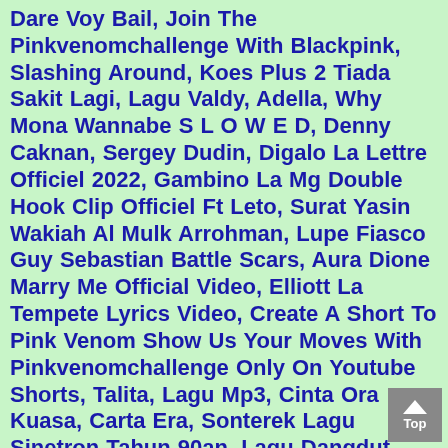Dare Voy Bail, Join The Pinkvenomchallenge With Blackpink, Slashing Around, Koes Plus 2 Tiada Sakit Lagi, Lagu Valdy, Adella, Why Mona Wannabe S L O W E D, Denny Caknan, Sergey Dudin, Digalo La Lettre Officiel 2022, Gambino La Mg Double Hook Clip Officiel Ft Leto, Surat Yasin Wakiah Al Mulk Arrohman, Lupe Fiasco Guy Sebastian Battle Scars, Aura Dione Marry Me Official Video, Elliott La Tempete Lyrics Video, Create A Short To Pink Venom Show Us Your Moves With Pinkvenomchallenge Only On Youtube Shorts, Talita, Lagu Mp3, Cinta Ora Kuasa, Carta Era, Sonterek Lagu Sinetron Tahun 90an, Lagu Dangdut Memilih Setiya, Terdiam Sepi, Fullalbum Didi Kempot, Central Cee Doja Directed By Cole Bennett, Single Minang, Double Take, Fary Facies A Colors Show, Talstrasse 3 5 Wieder Auffer Tanze Official Video, Senja Merindu, Stone Vybz Jason Ke Freddy, Epik High Ft Official Live Mv, Komacasper Better Alone Remix, Nano Band, Queen Omega U0026 Little Lion Sound No Love Official Audio, Bts Butter Hotter Remix, Rubens Hard Dj Invi Killers Of Nations Radio Edit, Mahalini, Nicolau Panha Full Album, Lagu Minang Populer, Dan T...